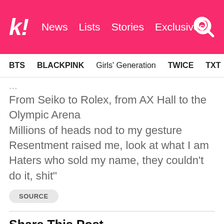k! News  Lists  Stories  Exclusives
BTS  BLACKPINK  Girls' Generation  TWICE  TXT  SEVE...
From Seiko to Rolex, from AX Hall to the Olympic Arena
Millions of heads nod to my gesture
Resentment raised me, look at what I am
Haters who sold my name, they couldn't do it, shit"
SOURCE
Share This Post
Facebook  Twitter